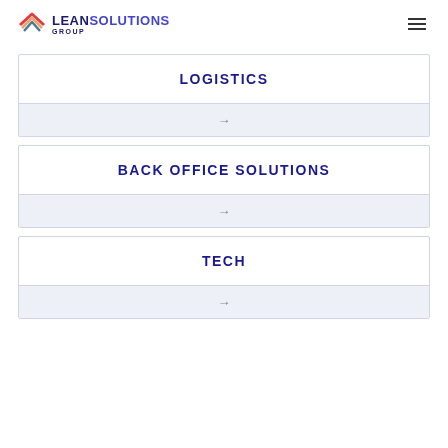LEAN SOLUTIONS GROUP
LOGISTICS
BACK OFFICE SOLUTIONS
TECH